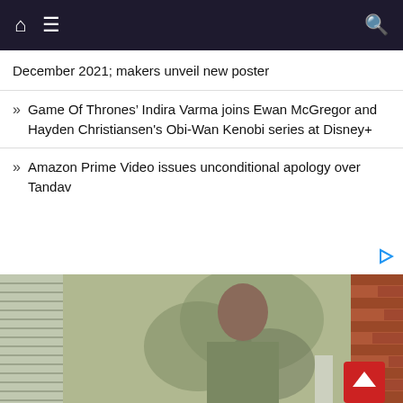Navigation bar with home, menu, and search icons
December 2021; makers unveil new poster
Game Of Thrones’ Indira Varma joins Ewan McGregor and Hayden Christiansen's Obi-Wan Kenobi series at Disney+
Amazon Prime Video issues unconditional apology over Tandav
[Figure (photo): A person in military camouflage uniform seated and looking to the side, with window blinds on the left and a brick wall on the right]